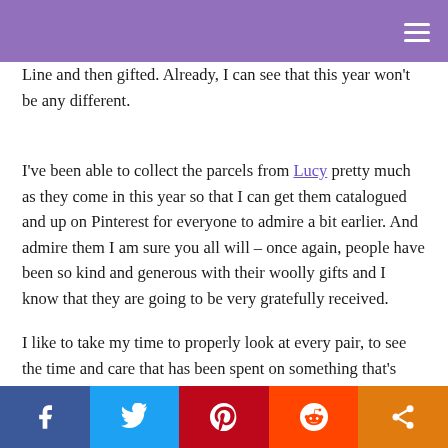Line and then gifted.  Already, I can see that this year won't be any different.
I've been able to collect the parcels from Lucy pretty much as they come in this year so that I can get them catalogued and up on Pinterest for everyone to admire a bit earlier.  And admire them I am sure you all will – once again, people have been so kind and generous with their woolly gifts and I know that they are going to be very gratefully received.
I like to take my time to properly look at every pair, to see the time and care that has been spent on something that's going to be given to a stranger.  Each pair, to me, feels like a smile and…